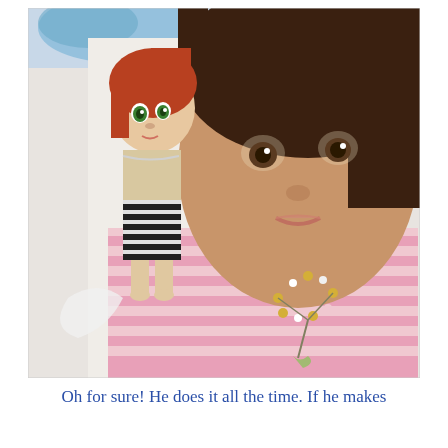[Figure (photo): Two dolls photographed close-up. The larger doll in the foreground has dark brown hair, brown eyes, and wears a pink and white striped shirt with flower brooches. The smaller doll in the background has reddish-brown hair, green eyes, and wears a beige top with black and white striped shorts.]
Oh for sure! He does it all the time. If he makes